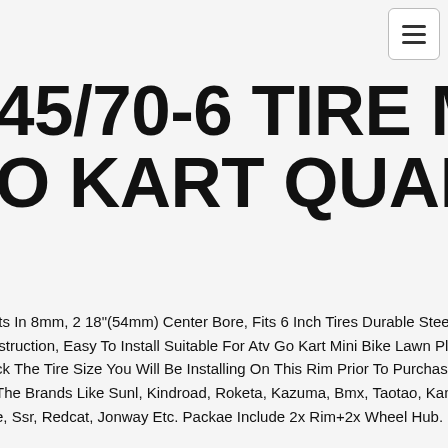145/70-6 TIRE MINI ATV GO KART QUAD BIKE
lts In 8mm, 2 18"(54mm) Center Bore, Fits 6 Inch Tires Durable Steel lstruction, Easy To Install Suitable For Atv Go Kart Mini Bike Lawn Please ck The Tire Size You Will Be Installing On This Rim Prior To Purchase Wo The Brands Like Sunl, Kindroad, Roketa, Kazuma, Bmx, Taotao, Kandi, e, Ssr, Redcat, Jonway Etc. Packae Include 2x Rim+2x Wheel Hub.
FULL SET 145/70-6 TIRE RIM 6" WHEEL FOR MINI BIKE ATV GOKART GOLF CART 4 WHEELER
In A Set Of Two Complete Tire And Wheel Assemblies. Popular Go Kart